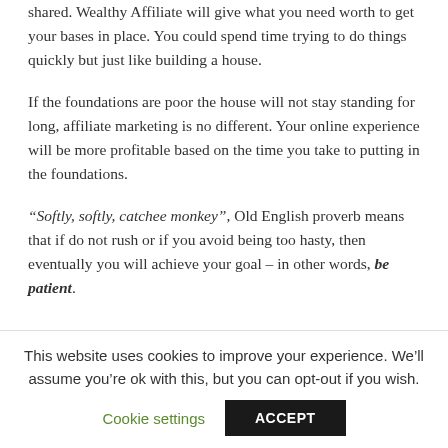shared. Wealthy Affiliate will give what you need worth to get your bases in place. You could spend time trying to do things quickly but just like building a house.
If the foundations are poor the house will not stay standing for long, affiliate marketing is no different. Your online experience will be more profitable based on the time you take to putting in the foundations.
“Softly, softly, catchee monkey”, Old English proverb means that if do not rush or if you avoid being too hasty, then eventually you will achieve your goal – in other words, be patient.
This website uses cookies to improve your experience. We’ll assume you’re ok with this, but you can opt-out if you wish.